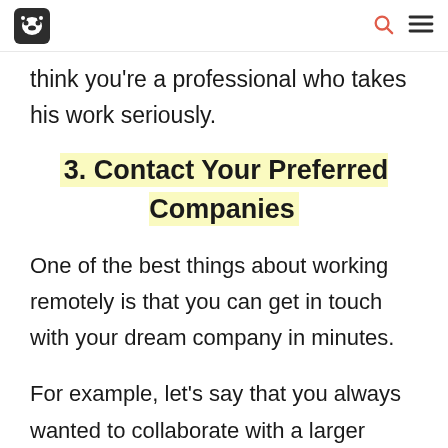[raccoon logo] [search icon] [menu icon]
think you're a professional who takes his work seriously.
3. Contact Your Preferred Companies
One of the best things about working remotely is that you can get in touch with your dream company in minutes.
For example, let's say that you always wanted to collaborate with a larger company which makes smartphones,